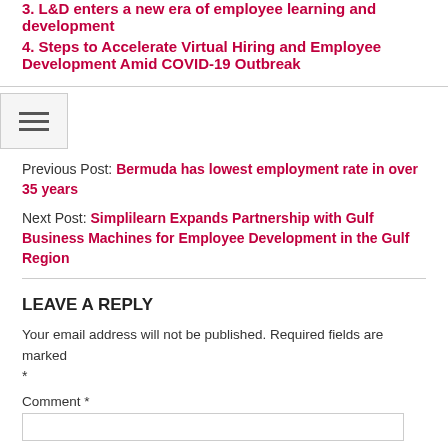3. L&D enters a new era of employee learning and development
4. Steps to Accelerate Virtual Hiring and Employee Development Amid COVID-19 Outbreak
Previous Post: Bermuda has lowest employment rate in over 35 years
Next Post: Simplilearn Expands Partnership with Gulf Business Machines for Employee Development in the Gulf Region
LEAVE A REPLY
Your email address will not be published. Required fields are marked *
Comment *